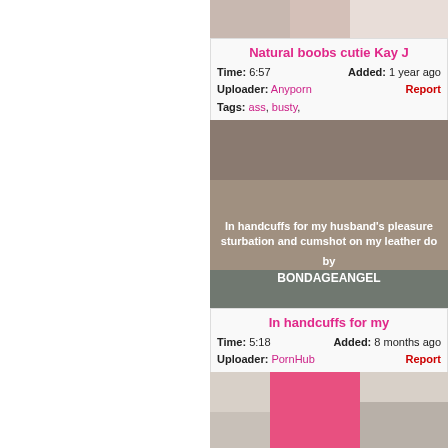[Figure (photo): Partial photo of a woman from behind]
Natural boobs cutie Kay J
Time: 6:57   Added: 1 year ago
Uploader: Anyporn   Report
Tags: ass, busty,
[Figure (photo): Photo showing handcuffs with text overlay: In handcuffs for my husband's pleasure sturbation and cumshot on my leather do by BONDAGEANGEL]
In handcuffs for my
Time: 5:18   Added: 8 months ago
Uploader: PornHub   Report
Tags: amateur, cumshot,
[Figure (photo): Photo of a woman in a pink dress in a kitchen]